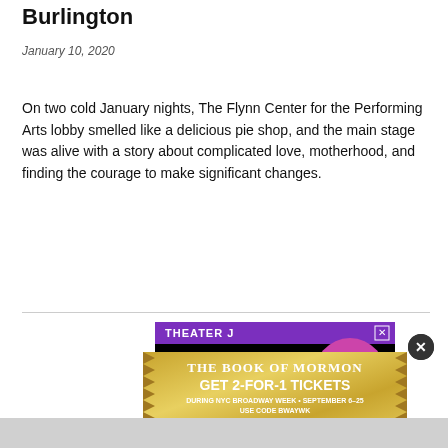Burlington
January 10, 2020
On two cold January nights, The Flynn Center for the Performing Arts lobby smelled like a delicious pie shop, and the main stage was alive with a story about complicated love, motherhood, and finding the courage to make significant changes.
[Figure (other): Theater J advertisement for 'Old Stock' show with purple header and image of performer wearing pink top hat on black background]
[Figure (other): Advertisement for The Book of Mormon musical offering Get 2-For-1 Tickets during NYC Broadway Week September 6-25, use code BWAYWK, with gold spiky border design and orange Get Tickets button]